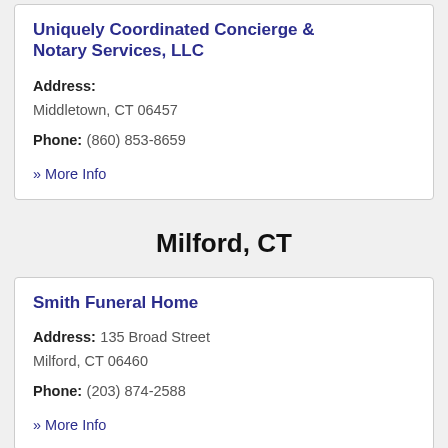Uniquely Coordinated Concierge & Notary Services, LLC
Address: Middletown, CT 06457
Phone: (860) 853-8659
» More Info
Milford, CT
Smith Funeral Home
Address: 135 Broad Street Milford, CT 06460
Phone: (203) 874-2588
» More Info